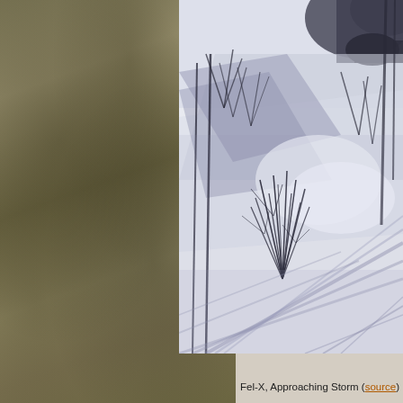[Figure (illustration): A watercolor painting titled 'Approaching Storm' by Fel-X. Shows a winter landscape with bare trees casting long shadows across snow-covered ground. The palette is predominantly blue-grey and white, with dark ink-like branches and tree trunks. The scene depicts a moody, atmospheric winter scene with dramatic shadow play on the snow.]
Fel-X, Approaching Storm (source)